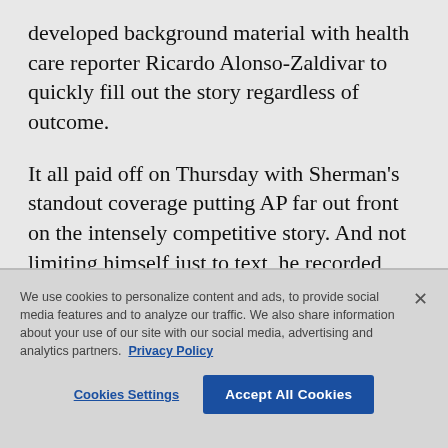developed background material with health care reporter Ricardo Alonso-Zaldivar to quickly fill out the story regardless of outcome.
It all paid off on Thursday with Sherman’s standout coverage putting AP far out front on the intensely competitive story. And not limiting himself just to text, he recorded video neatly explaining the court’s decision:
We use cookies to personalize content and ads, to provide social media features and to analyze our traffic. We also share information about your use of our site with our social media, advertising and analytics partners. Privacy Policy
Cookies Settings
Accept All Cookies